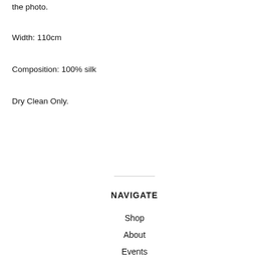the photo.
Width: 110cm
Composition: 100% silk
Dry Clean Only.
NAVIGATE
Shop
About
Events